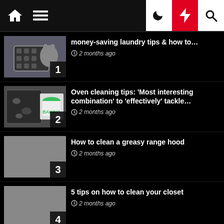Navigation bar with home, menu, dark mode, lightning, search icons
money-saving laundry tips & how to… 2 months ago
Oven cleaning tips: 'Most interesting combination' to 'effectively' tackle… 2 months ago
How to clean a greasy range hood 2 months ago
5 tips on how to clean your closet 2 months ago
Five Financial "Spring Cleaning" Tips 2 months ago